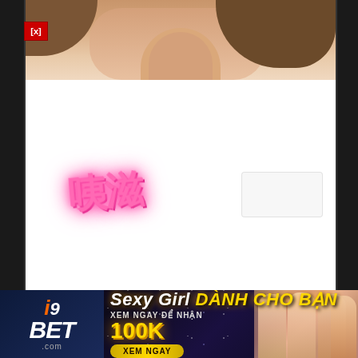[Figure (illustration): Top manga panel showing close-up of anime/manga characters with skin tones and hair, partially cropped]
[Figure (illustration): Main white manga panel with pink glowing Chinese sound effect characters (咦滋) in upper left and faint rectangular shape in upper right]
[Figure (other): Advertisement banner for i9BET.com gambling site with text 'Sexy Girl DANH CHO BAN XEM NGAY DE NHAN 100K XEM NGAY' and photos of women]